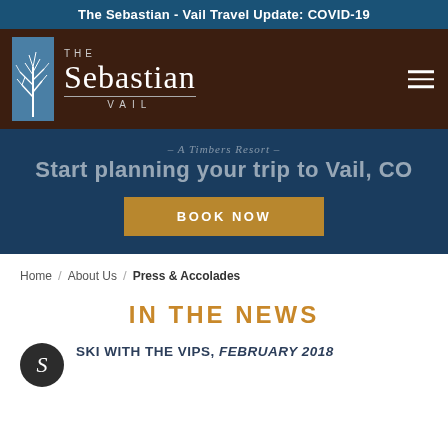The Sebastian - Vail Travel Update: COVID-19
[Figure (logo): The Sebastian Vail hotel logo with tree illustration and navigation bar on dark brown background]
[Figure (infographic): Dark blue hero section with tagline '– A Timbers Resort –', heading 'Start planning your trip to Vail, CO', and a gold BOOK NOW button]
Home / About Us / Press & Accolades
IN THE NEWS
SKI WITH THE VIPS, FEBRUARY 2018